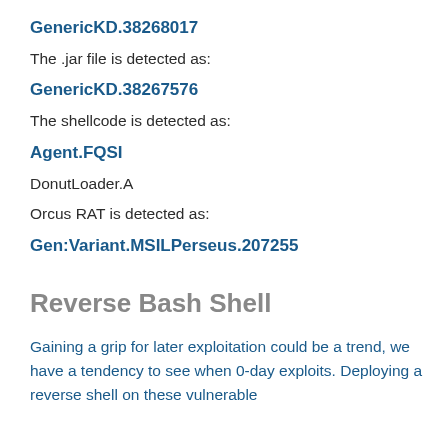GenericKD.38268017
The .jar file is detected as:
GenericKD.38267576
The shellcode is detected as:
Agent.FQSI
DonutLoader.A
Orcus RAT is detected as:
Gen:Variant.MSILPerseus.207255
Reverse Bash Shell
Gaining a grip for later exploitation could be a trend, we have a tendency to see when 0-day exploits. Deploying a reverse shell on these vulnerable